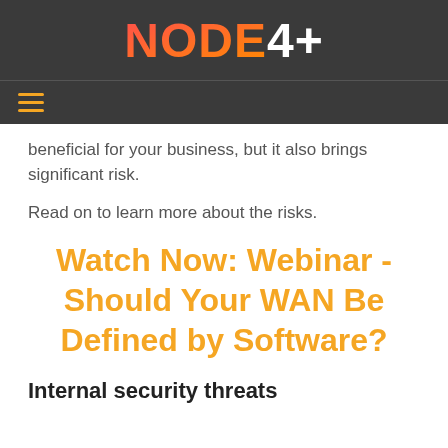NODE4+
beneficial for your business, but it also brings significant risk.
Read on to learn more about the risks.
Watch Now: Webinar - Should Your WAN Be Defined by Software?
Internal security threats